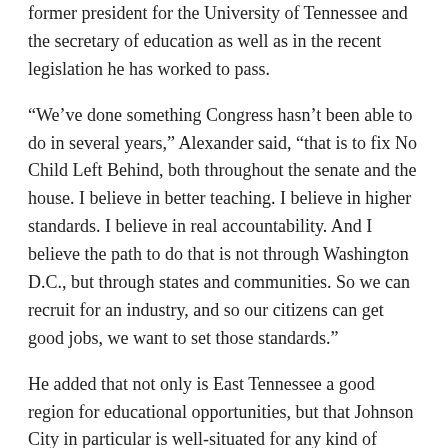former president for the University of Tennessee and the secretary of education as well as in the recent legislation he has worked to pass.
“We’ve done something Congress hasn’t been able to do in several years,” Alexander said, “that is to fix No Child Left Behind, both throughout the senate and the house. I believe in better teaching. I believe in higher standards. I believe in real accountability. And I believe the path to do that is not through Washington D.C., but through states and communities. So we can recruit for an industry, and so our citizens can get good jobs, we want to set those standards.”
He added that not only is East Tennessee a good region for educational opportunities, but that Johnson City in particular is well-situated for any kind of industry and manufacturing.
“You’re right smack dab in the center of the most competitive part of the American auto deal industry, which the Tri-Cities area is,”